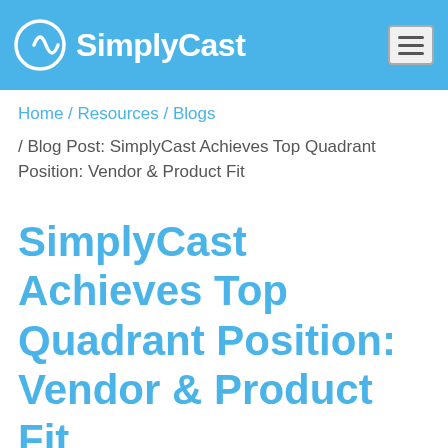SimplyCast
Home / Resources / Blogs
/ Blog Post: SimplyCast Achieves Top Quadrant Position: Vendor & Product Fit
SimplyCast Achieves Top Quadrant Position: Vendor & Product Fit
August 19, 2014